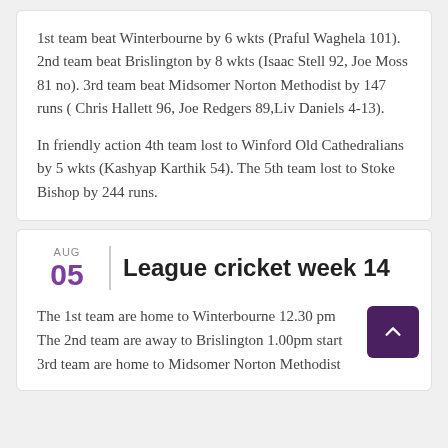1st team beat Winterbourne by 6 wkts (Praful Waghela 101). 2nd team beat Brislington by 8 wkts (Isaac Stell 92, Joe Moss 81 no). 3rd team beat Midsomer Norton Methodist by 147 runs ( Chris Hallett 96, Joe Redgers 89,Liv Daniels 4-13).

In friendly action 4th team lost to Winford Old Cathedralians by 5 wkts (Kashyap Karthik 54). The 5th team lost to Stoke Bishop by 244 runs.
League cricket week 14
The 1st team are home to Winterbourne 12.30 pm The 2nd team are away to Brislington 1.00pm start 3rd team are home to Midsomer Norton Methodist